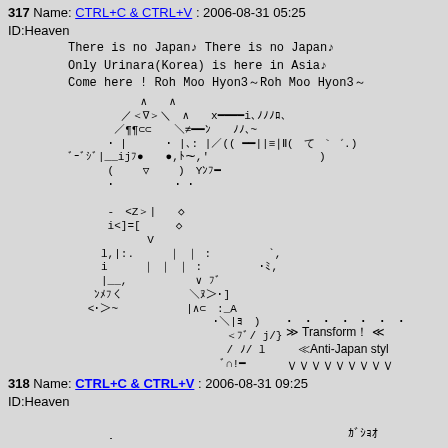317  Name: CTRL+C & CTRL+V : 2006-08-31 05:25
ID:Heaven
There is no Japan♪ There is no Japan♪
Only Urinara(Korea) is here in Asia♪
Come here ! Roh Moo Hyon3～Roh Moo Hyon3～
[Figure (other): ASCII art of a robot/mecha figure made from Japanese and special characters, with text 'Transform！ ≪Anti-Japan styl' and 'VVVVVVVVV' and 'ｶﾞｼｮｵ']
318  Name: CTRL+C & CTRL+V : 2006-08-31 09:25
ID:Heaven